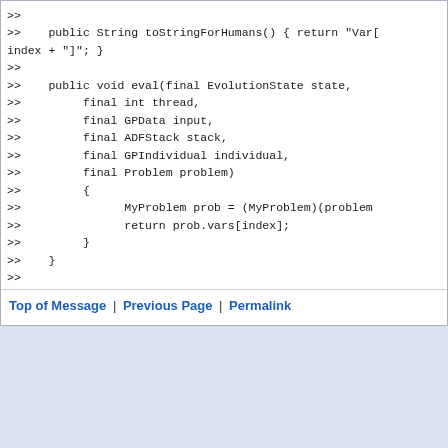>> 
>>    public String toStringForHumans() { return "Var[
index + "]"; }
>>
>>    public void eval(final EvolutionState state,
>>         final int thread,
>>         final GPData input,
>>         final ADFStack stack,
>>         final GPIndividual individual,
>>         final Problem problem)
>>         {
>>               MyProblem prob = (MyProblem)(problem
>>               return prob.vars[index];
>>         }
>>    }
>>
Top of Message | Previous Page | Permalink